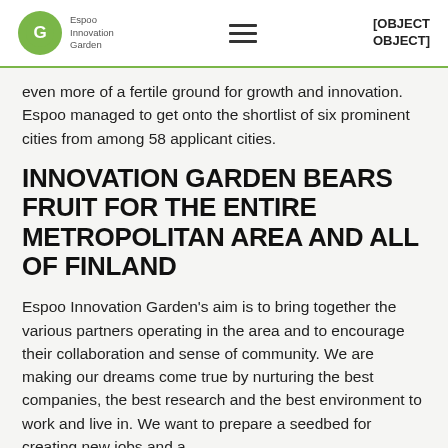Espoo Innovation Garden [OBJECT OBJECT]
even more of a fertile ground for growth and innovation. Espoo managed to get onto the shortlist of six prominent cities from among 58 applicant cities.
INNOVATION GARDEN BEARS FRUIT FOR THE ENTIRE METROPOLITAN AREA AND ALL OF FINLAND
Espoo Innovation Garden's aim is to bring together the various partners operating in the area and to encourage their collaboration and sense of community. We are making our dreams come true by nurturing the best companies, the best research and the best environment to work and live in. We want to prepare a seedbed for creating new jobs and a